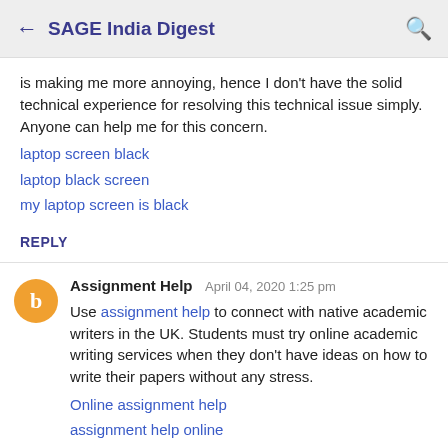← SAGE India Digest 🔍
is making me more annoying, hence I don't have the solid technical experience for resolving this technical issue simply. Anyone can help me for this concern.
laptop screen black
laptop black screen
my laptop screen is black
REPLY
Assignment Help   April 04, 2020 1:25 pm
Use assignment help to connect with native academic writers in the UK. Students must try online academic writing services when they don't have ideas on how to write their papers without any stress.
Online assignment help
assignment help online
assignment helper
online assignment helper